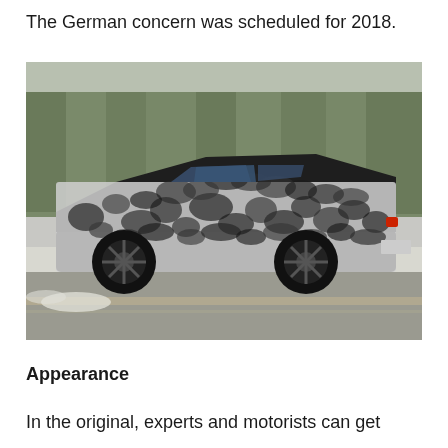The German concern was scheduled for 2018.
[Figure (photo): A camouflaged prototype sedan car (wrapped in black-and-white swirl camouflage pattern) driving on a road with snow and trees in the background. The vehicle is photographed from the side.]
Appearance
In the original, experts and motorists can get